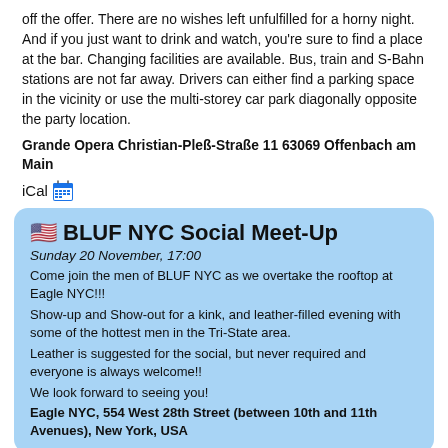off the offer. There are no wishes left unfulfilled for a horny night. And if you just want to drink and watch, you're sure to find a place at the bar. Changing facilities are available. Bus, train and S-Bahn stations are not far away. Drivers can either find a parking space in the vicinity or use the multi-storey car park diagonally opposite the party location.
Grande Opera Christian-Pleß-Straße 11 63069 Offenbach am Main
iCal 📅
🇺🇸 BLUF NYC Social Meet-Up
Sunday 20 November, 17:00
Come join the men of BLUF NYC as we overtake the rooftop at Eagle NYC!!!
Show-up and Show-out for a kink, and leather-filled evening with some of the hottest men in the Tri-State area.
Leather is suggested for the social, but never required and everyone is always welcome!!
We look forward to seeing you!
Eagle NYC, 554 West 28th Street (between 10th and 11th Avenues), New York, USA
iCal 📅